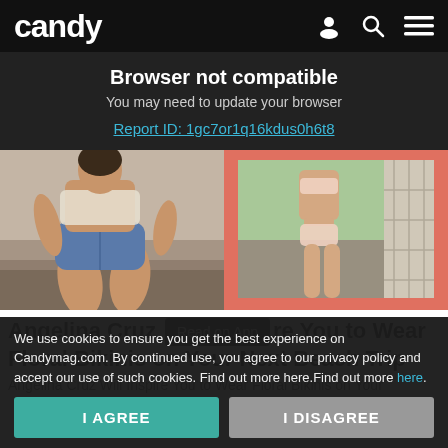candy
Browser not compatible
You may need to update your browser
Report ID: 1gc7or1q16kdus0h6t8
[Figure (photo): Two-panel image: left shows a woman sitting in denim shorts on a bed, right shows a woman in a pink bikini outdoors with a coral/salmon colored frame border]
Angelina Cruz Will Inspire You to Wear Floral Bikinis on Your Next Beach Trip
Angelina Cruz Will Inspire You to Wear Floral Bikinis on Your
We use cookies to ensure you get the best experience on Candymag.com. By continued use, you agree to our privacy policy and accept our use of such cookies. Find out more here.Find out more here.
I AGREE
I DISAGREE